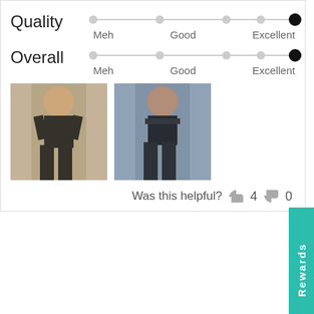[Figure (infographic): Quality rating slider showing dot at Excellent end, with labels Meh, Good, Excellent]
[Figure (infographic): Overall rating slider showing dot at Excellent end, with labels Meh, Good, Excellent]
[Figure (photo): Two thumbnail photos of a person wearing black lingerie, front and back views]
Was this helpful? 4 0
[Figure (screenshot): Rewards tab on right side in teal color]
Sierra
We use cookies on our website to give you the best shopping experience. By using this site, you agree to its use of cookies.
Reviewing
Duo Panty Harness - Black
I AGREE